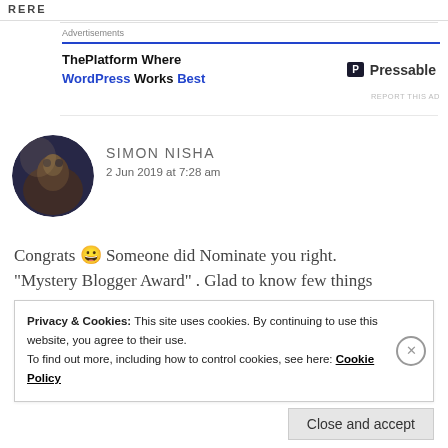Advertisements
[Figure (screenshot): Pressable advertisement banner: 'ThePlatform Where WordPress Works Best' with Pressable logo]
[Figure (photo): Circular avatar photo of Simon Nisha - a man with dramatic lighting]
SIMON NISHA
2 Jun 2019 at 7:28 am
Congrats 😀 Someone did Nominate you right. "Mystery Blogger Award" . Glad to know few things
Privacy & Cookies: This site uses cookies. By continuing to use this website, you agree to their use.
To find out more, including how to control cookies, see here: Cookie Policy
Close and accept